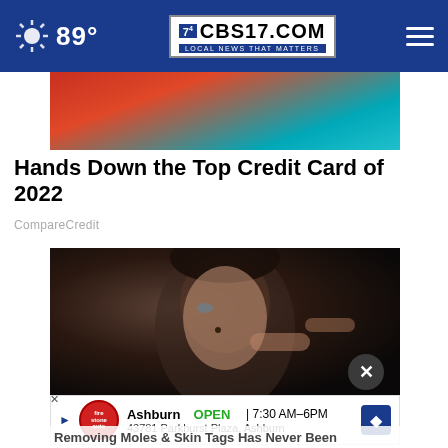89° CBS17.COM LOCAL NEWS THAT MATTERS
[Figure (photo): Colorful abstract/fashion image with red and teal tones — top partial image (advertisement)]
Hands Down the Top Credit Card of 2022
CompareCredit
[Figure (photo): Close-up portrait of a young man with dark hair touching his face, with a mole on his cheek, against a dark background]
[Figure (other): Advertisement overlay: Firestone Auto Care — Ashburn OPEN 7:30 AM–6PM, 43781 Parkhurst Plaza, Ashburn]
Removing Moles & Skin Tags Has Never Been